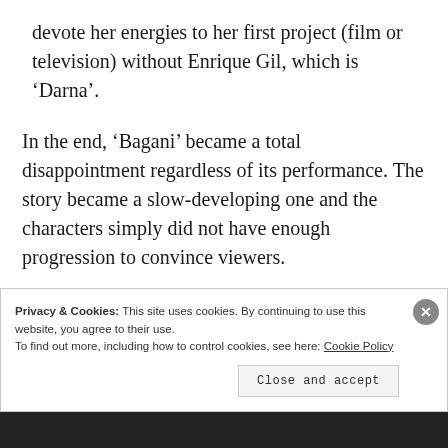devote her energies to her first project (film or television) without Enrique Gil, which is ‘Darna’.
In the end, ‘Bagani’ became a total disappointment regardless of its performance. The story became a slow-developing one and the characters simply did not have enough progression to convince viewers.
Privacy & Cookies: This site uses cookies. By continuing to use this website, you agree to their use.
To find out more, including how to control cookies, see here: Cookie Policy
Close and accept